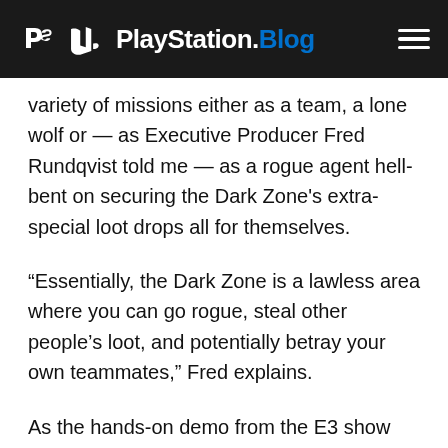PlayStation.Blog
variety of missions either as a team, a lone wolf or — as Executive Producer Fred Rundqvist told me — as a rogue agent hell-bent on securing the Dark Zone's extra-special loot drops all for themselves.
“Essentially, the Dark Zone is a lawless area where you can go rogue, steal other people’s loot, and potentially betray your own teammates,” Fred explains.
As the hands-on demo from the E3 show floor demonstrated, patrolling the Dark Zone is a nervy, tense experience where you’re never quite sure who to trust — whether that’s other player controlled squads, or